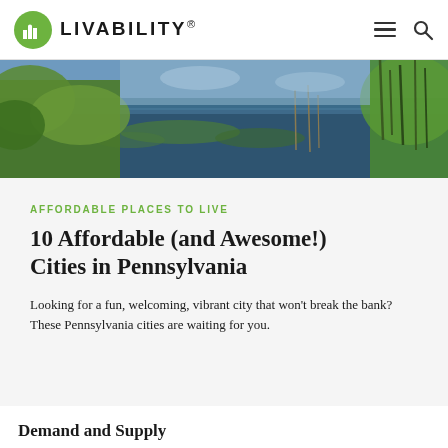LIVABILITY
[Figure (photo): Panoramic photo of a wetland/marsh scene with lily pads on dark water, green vegetation and reeds on the right, trees and shrubs on the left, and a partly cloudy sky.]
AFFORDABLE PLACES TO LIVE
10 Affordable (and Awesome!) Cities in Pennsylvania
Looking for a fun, welcoming, vibrant city that won't break the bank? These Pennsylvania cities are waiting for you.
Demand and Supply